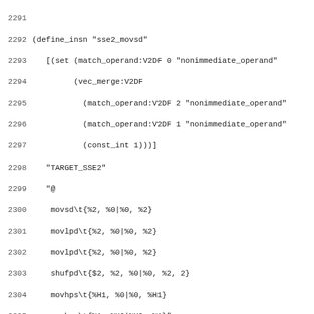Source code listing lines 2291-2322, GCC machine description (define_insn entries for sse2_movsd, *vec_dupv2df_sse3, *vec_dupv2df)